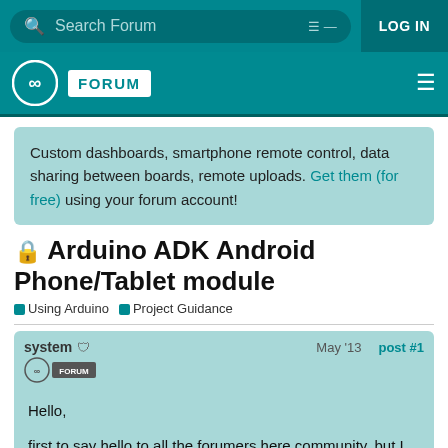Search Forum | LOG IN
[Figure (logo): Arduino Forum logo with infinity symbol and FORUM badge]
Custom dashboards, smartphone remote control, data sharing between boards, remote uploads. Get them (for free) using your forum account!
Arduino ADK Android Phone/Tablet module
Using Arduino   Project Guidance
system   May '13   post #1
Hello,

first to say hello to all the forumers here community, but I am looking forward to s
1 / 2